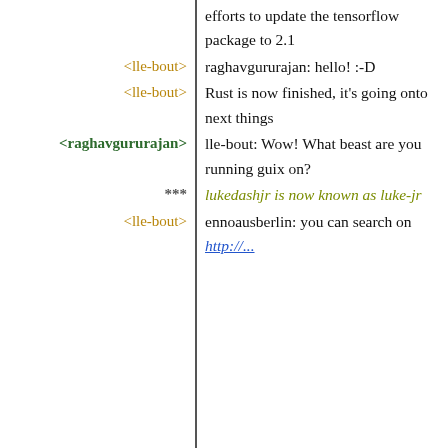efforts to update the tensorflow package to 2.1
<lle-bout> raghavgururajan: hello! :-D
<lle-bout> Rust is now finished, it's going onto next things
<raghavgururajan> lle-bout: Wow! What beast are you running guix on?
*** lukedashjr is now known as luke-jr
<lle-bout> ennoausberlin: you can search on
http://...